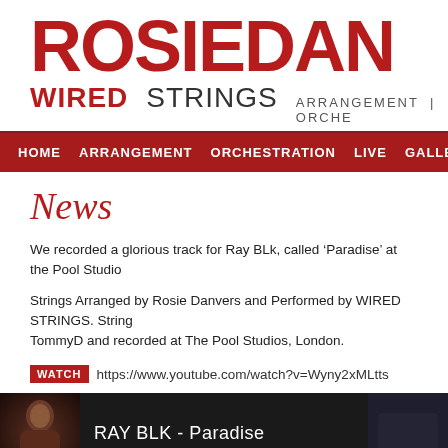ROSIEDAN WIRED STRINGS ARRANGEMENT | ORCHE...
HOME ARRANGEMENT ORCHESTRATION LIVE GALLERY WATCH ROSIE...
News
We recorded a glorious track for Ray BLk, called ‘Paradise’ at the Pool Studio...
Strings Arranged by Rosie Danvers and Performed by WIRED STRINGS. String... TommyD and recorded at The Pool Studios, London.
WATCH https://www.youtube.com/watch?v=Wyny2xMLtts
[Figure (screenshot): Video thumbnail showing RAY BLK - Paradise with dark background and performer silhouette]